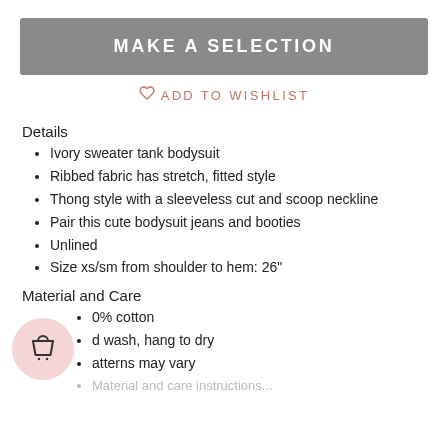MAKE A SELECTION
♡ ADD TO WISHLIST
Details
Ivory sweater tank bodysuit
Ribbed fabric has stretch, fitted style
Thong style with a sleeveless cut and scoop neckline
Pair this cute bodysuit jeans and booties
Unlined
Size xs/sm from shoulder to hem: 26"
Material and Care
0% cotton
d wash, hang to dry
atterns may vary
Material and care instructions...